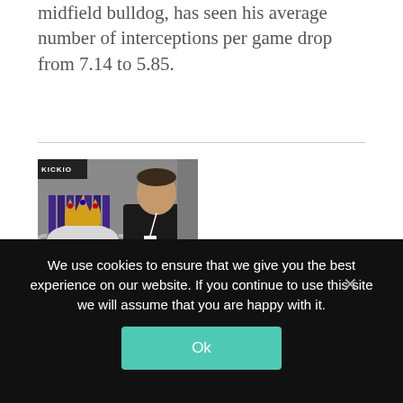midfield bulldog, has seen his average number of interceptions per game drop from 7.14 to 5.85.
[Figure (photo): A man standing next to a Premier League trophy (with crown on top) at what appears to be a KICKOFF event. The man is wearing a dark jacket with a lanyard/badge.]
Tactical analyst based in Madrid tracking LaLiga. Featured in MARCA, FourFourTwo and La Liga
We use cookies to ensure that we give you the best experience on our website. If you continue to use this site we will assume that you are happy with it.
Ok